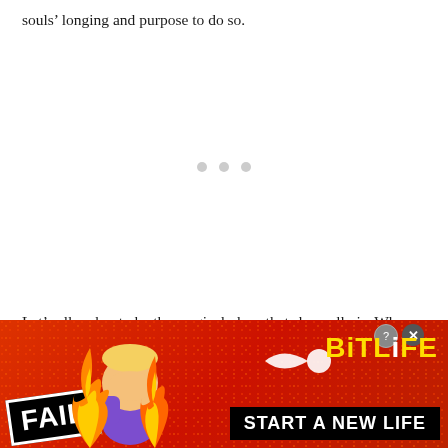souls' longing and purpose to do so.
[Figure (other): Loading indicator with three grey dots centered on white background]
Let’s allow her to be the magical place that she really is. When we do this, we will discover how magical our lives can really be as well.
[Figure (other): BitLife mobile game advertisement banner with red background, fire imagery, cartoon character facepalming, FAIL badge, sperm icon, BitLife logo, and START A NEW LIFE button]